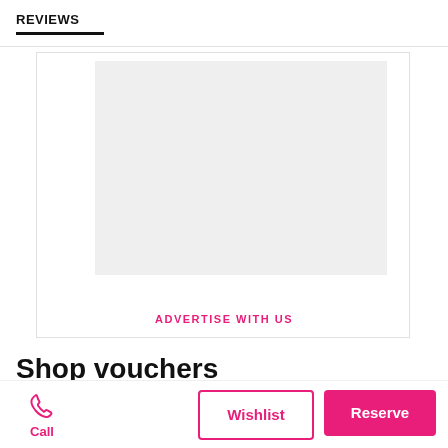REVIEWS
[Figure (other): Gray advertisement placeholder box with 'ADVERTISE WITH US' text link below it]
Shop vouchers
Enjoy dining without burning a hole in your pocket, no membership required
Call | Wishlist | Reserve